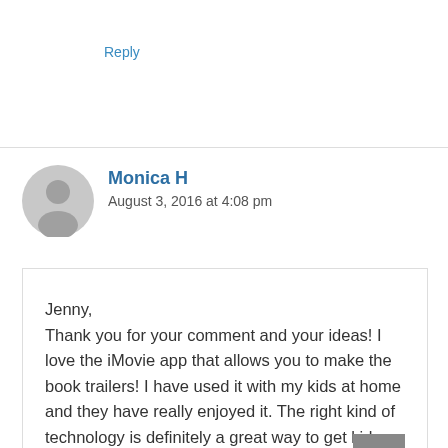Reply
[Figure (illustration): Gray circular user avatar icon]
Monica H
August 3, 2016 at 4:08 pm
Jenny,
Thank you for your comment and your ideas! I love the iMovie app that allows you to make the book trailers! I have used it with my kids at home and they have really enjoyed it. The right kind of technology is definitely a great way to get kids excited about reading. Thank you! ~Monica